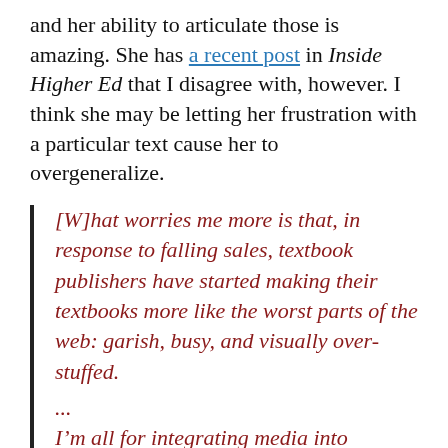and her ability to articulate those is amazing. She has a recent post in Inside Higher Ed that I disagree with, however. I think she may be letting her frustration with a particular text cause her to overgeneralize.
[W]hat worries me more is that, in response to falling sales, textbook publishers have started making their textbooks more like the worst parts of the web: garish, busy, and visually over-stuffed.

...

Iâ€™m all for integrating media into teaching, and that includes useful and relevant visuals in a textbook. But to